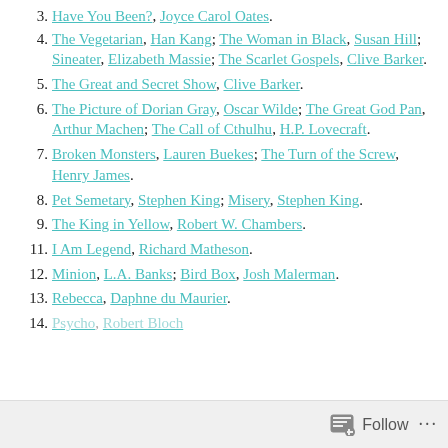Have You Been?, Joyce Carol Oates.
The Vegetarian, Han Kang; The Woman in Black, Susan Hill; Sineater, Elizabeth Massie; The Scarlet Gospels, Clive Barker.
The Great and Secret Show, Clive Barker.
The Picture of Dorian Gray, Oscar Wilde; The Great God Pan, Arthur Machen; The Call of Cthulhu, H.P. Lovecraft.
Broken Monsters, Lauren Buekes; The Turn of the Screw, Henry James.
Pet Semetary, Stephen King; Misery, Stephen King.
The King in Yellow, Robert W. Chambers.
I Am Legend, Richard Matheson.
Minion, L.A. Banks; Bird Box, Josh Malerman.
Rebecca, Daphne du Maurier.
Psycho, Robert Bloch.
Follow